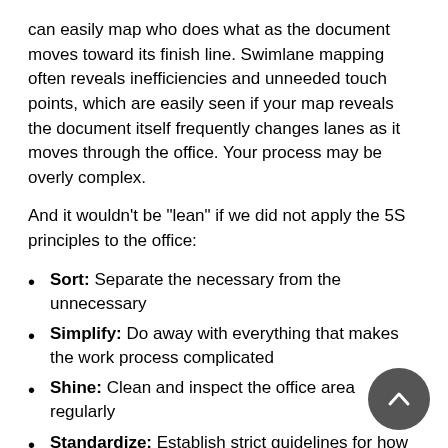can easily map who does what as the document moves toward its finish line. Swimlane mapping often reveals inefficiencies and unneeded touch points, which are easily seen if your map reveals the document itself frequently changes lanes as it moves through the office. Your process may be overly complex.
And it wouldn't be "lean" if we did not apply the 5S principles to the office:
Sort: Separate the necessary from the unnecessary
Simplify: Do away with everything that makes the work process complicated
Shine: Clean and inspect the office area regularly
Standardize: Establish strict guidelines for how the work is done and organized
Sustain: Keep the office productivity on a certain level, and come up with new ways for improvement